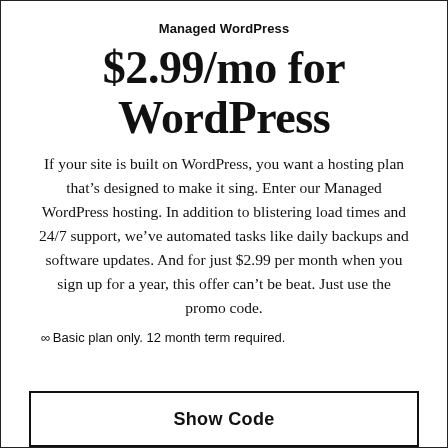Managed WordPress
$2.99/mo for WordPress
If your site is built on WordPress, you want a hosting plan that’s designed to make it sing. Enter our Managed WordPress hosting. In addition to blistering load times and 24/7 support, we’ve automated tasks like daily backups and software updates. And for just $2.99 per month when you sign up for a year, this offer can’t be beat. Just use the promo code.
∞Basic plan only. 12 month term required.
Show Code